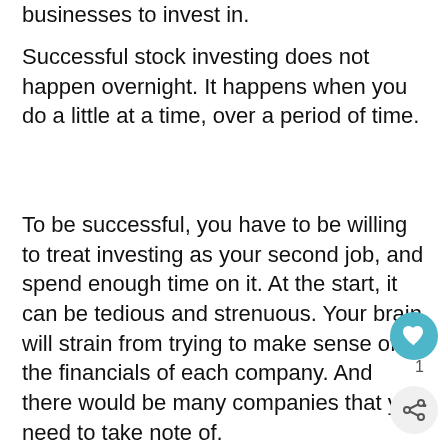businesses to invest in.
Successful stock investing does not happen overnight. It happens when you do a little at a time, over a period of time.
To be successful, you have to be willing to treat investing as your second job, and spend enough time on it. At the start, it can be tedious and strenuous. Your brain will strain from trying to make sense of the financials of each company. And there would be many companies that you need to take note of.